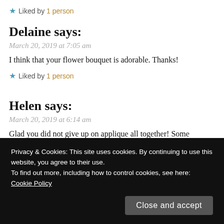★ Liked by 1 person
Delaine says:
March 20, 2019 at 7:05 am
I think that your flower bouquet is adorable. Thanks!
★ Liked by 1 person
Helen says:
March 20, 2019 at 6:14 am
Glad you did not give up on applique all together! Some quilting or crafting ways and ideas are for everyone, so glad
Privacy & Cookies: This site uses cookies. By continuing to use this website, you agree to their use.
To find out more, including how to control cookies, see here:
Cookie Policy
Close and accept